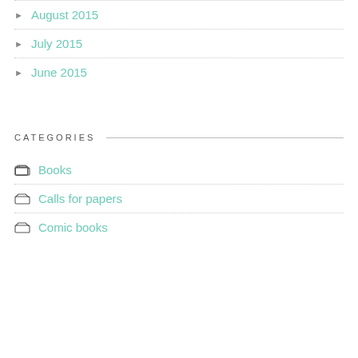August 2015
July 2015
June 2015
CATEGORIES
Books
Calls for papers
Comic books